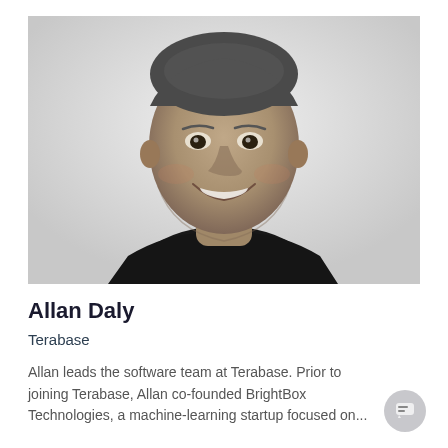[Figure (photo): Black and white headshot portrait of Allan Daly, a middle-aged man with short grey hair, smiling, wearing a dark polo shirt against a light background.]
Allan Daly
Terabase
Allan leads the software team at Terabase. Prior to joining Terabase, Allan co-founded BrightBox Technologies, a machine-learning startup focused on...